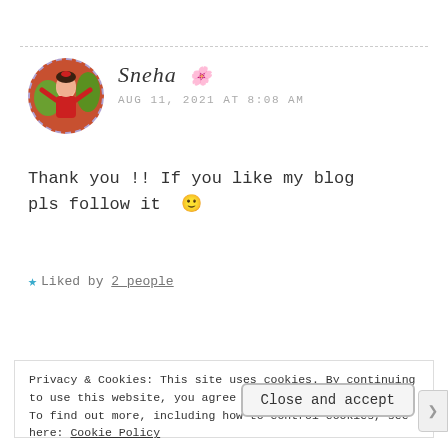Sneha 🌸 AUG 11, 2021 AT 8:08 AM
Thank you !! If you like my blog pls follow it 🙂
★ Liked by 2 people
Reply
Privacy & Cookies: This site uses cookies. By continuing to use this website, you agree to their use. To find out more, including how to control cookies, see here: Cookie Policy
Close and accept